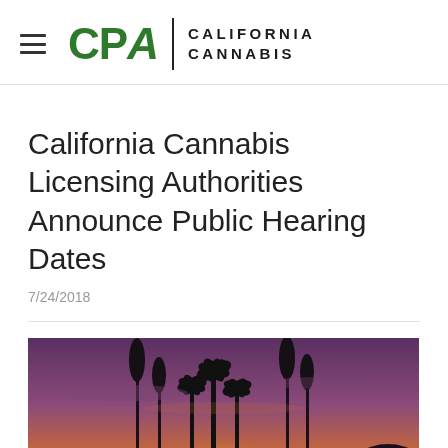CPA | CALIFORNIA CANNABIS
California Cannabis Licensing Authorities Announce Public Hearing Dates
7/24/2018
[Figure (photo): Sunset photo showing a road lined with tall palm trees and other trees silhouetted against a dramatic orange and purple sky, with a yellow road marking visible at the bottom center.]